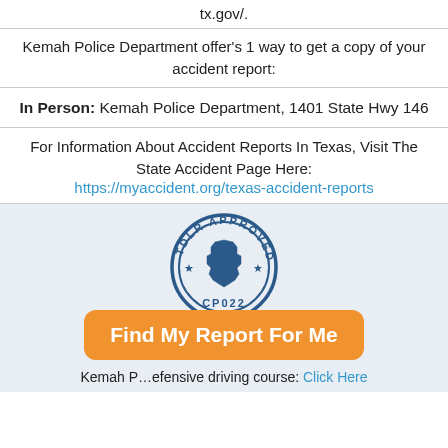tx.gov/.
Kemah Police Department offer's 1 way to get a copy of your accident report:
In Person: Kemah Police Department, 1401 State Hwy 146
For Information About Accident Reports In Texas, Visit The State Accident Page Here:
https://myaccident.org/texas-accident-reports
[Figure (illustration): TDLR Approved stamp with Texas state outline and code CP022]
Find My Report For Me
Kemah P[olice Department offers a] defensive driving course: Click Here